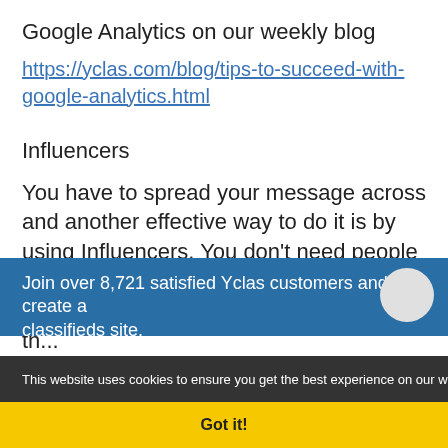Google Analytics on our weekly blog
https://yclas.com/blog/tips-to-succeed-with-google-analytics.html
Influencers
You have to spread your message across and another effective way to do it is by using Influencers. You don't need people with millions of followers. The th... You just have to find th...
Join over 8,721 satisfied Yclas customers and create a classifieds site.
This website uses cookies to ensure you get the best experience on our website More info
Got it!